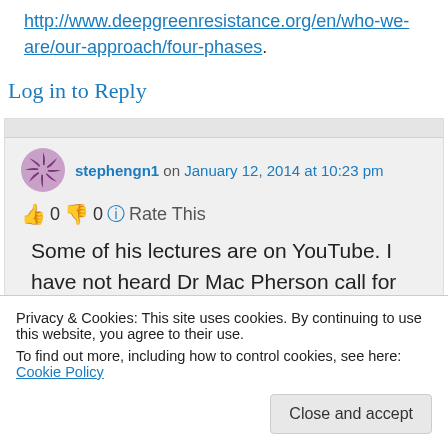http://www.deepgreenresistance.org/en/who-we-are/our-approach/four-phases.
Log in to Reply
stephengn1 on January 12, 2014 at 10:23 pm
👍 0 👎 0 ℹ️ Rate This
Some of his lectures are on YouTube. I have not heard Dr Mac Pherson call for action in them. The action he would call for
Privacy & Cookies: This site uses cookies. By continuing to use this website, you agree to their use.
To find out more, including how to control cookies, see here: Cookie Policy